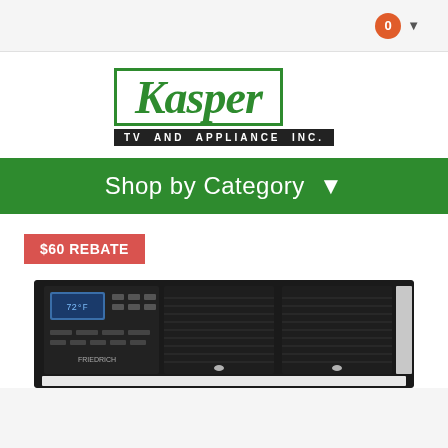0 (cart dropdown)
[Figure (logo): Kasper TV and Appliance Inc. logo — green italic serif 'Kasper' text inside a green rectangle border, with 'TV AND APPLIANCE INC.' in white text on a black background bar below]
Shop by Category ▾
$60 REBATE
[Figure (photo): Wall air conditioning unit with dark housing, digital control panel on left side with blue display and buttons, two ventilation grilles in center and right, photographed from front angle]